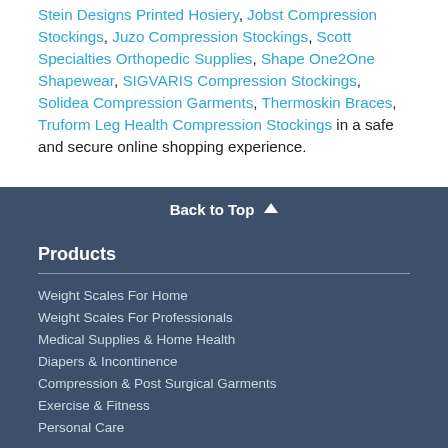Stein Designs Printed Hosiery, Jobst Compression Stockings, Juzo Compression Stockings, Scott Specialties Orthopedic Supplies, Shape One2One Shapewear, SIGVARIS Compression Stockings, Solidea Compression Garments, Thermoskin Braces, Truform Leg Health Compression Stockings in a safe and secure online shopping experience.
Back to Top
Products
Weight Scales For Home
Weight Scales For Professionals
Medical Supplies & Home Health
Diapers & Incontinence
Compression & Post Surgical Garments
Exercise & Fitness
Personal Care